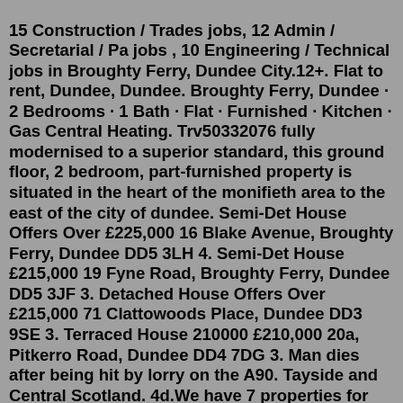15 Construction / Trades jobs, 12 Admin / Secretarial / Pa jobs , 10 Engineering / Technical jobs in Broughty Ferry, Dundee City.12+. Flat to rent, Dundee, Dundee. Broughty Ferry, Dundee · 2 Bedrooms · 1 Bath · Flat · Furnished · Kitchen · Gas Central Heating. Trv50332076 fully modernised to a superior standard, this ground floor, 2 bedroom, part-furnished property is situated in the heart of the monifieth area to the east of the city of dundee. Semi-Det House Offers Over £225,000 16 Blake Avenue, Broughty Ferry, Dundee DD5 3LH 4. Semi-Det House £215,000 19 Fyne Road, Broughty Ferry, Dundee DD5 3JF 3. Detached House Offers Over £215,000 71 Clattowoods Place, Dundee DD3 9SE 3. Terraced House 210000 £210,000 20a, Pitkerro Road, Dundee DD4 7DG 3. Man dies after being hit by lorry on the A90. Tayside and Central Scotland. 4d.We have 7 properties for rent listed as: broughty ferry 2 bedroom, from £600. Find: broughty ferry properties for rent at the best pricesFind properties to buy in Broughty Ferry with the UK's largest data-driven